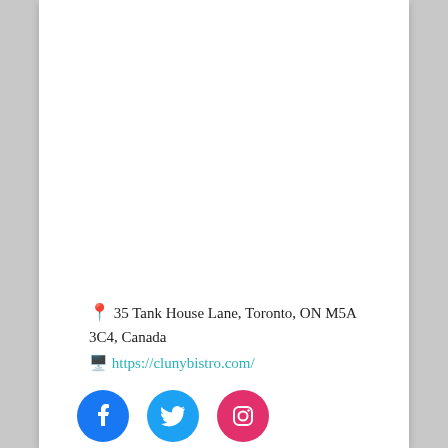📍 35 Tank House Lane, Toronto, ON M5A 3C4, Canada
🖥️ https://clunybistro.com/
[Figure (infographic): Social media icons: Facebook (blue circle with f logo), Twitter (cyan circle with bird logo), Instagram (pink/magenta circle with camera logo)]